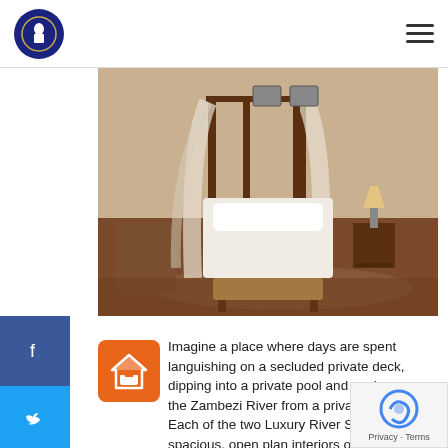[Logo] [Hamburger menu]
[Figure (photo): Interior photo of a luxury safari suite with a four-poster canopy bed draped in white sheer fabric, a wooden bench at the foot of the bed, hardwood floors, and warm ambient lighting. Nightstands and wall art visible in the background.]
[Figure (logo): Orange square icon with a house/bed symbol representing accommodation]
Imagine a place where days are spent languishing on a secluded private deck, dipping into a private pool and gazing over the Zambezi River from a private suite. Each of the two Luxury River Suites have spacious, open plan interiors offering the ultimate space in which relax and unwind after a day spent